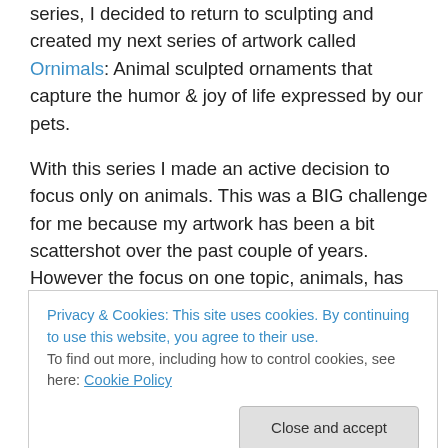series, I decided to return to sculpting and created my next series of artwork called Ornimals: Animal sculpted ornaments that capture the humor & joy of life expressed by our pets.
With this series I made an active decision to focus only on animals. This was a BIG challenge for me because my artwork has been a bit scattershot over the past couple of years. However the focus on one topic, animals, has paid off. The Ornimals made their debut at a holiday art/craft show in October. By the end of the holiday show season, I
Privacy & Cookies: This site uses cookies. By continuing to use this website, you agree to their use.
To find out more, including how to control cookies, see here: Cookie Policy
Close and accept
donation in the amount of $65.00. It was a great feeling.